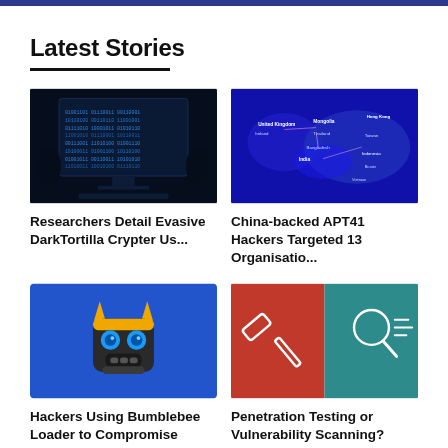Latest Stories
[Figure (photo): Computer monitor displaying blue binary code in a dark room]
Researchers Detail Evasive DarkTortilla Crypter Us...
[Figure (map): World map with annotations showing countries targeted by APT41 hackers including United Kingdom, Ireland, Mongolia, Thailand, Bangladesh, India, Taiwan, Hong Kong, Indonesia, Brunei, Vietnam]
China-backed APT41 Hackers Targeted 13 Organisatio...
[Figure (illustration): Yellow and black robot/bee skull logo on blue background - Bumblebee loader icon]
Hackers Using Bumblebee Loader to Compromise Activ...
[Figure (illustration): Split image: left side red background with hammer icon, right side teal background with magnifying glass/search icon]
Penetration Testing or Vulnerability Scanning? Wha...